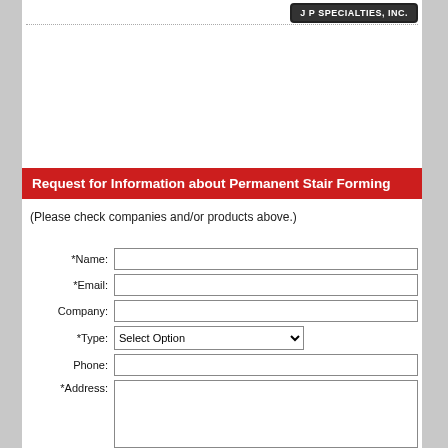[Figure (logo): J P SPECIALTIES, INC. logo badge in dark background with white text]
Request for Information about Permanent Stair Forming
(Please check companies and/or products above.)
| Field | Input |
| --- | --- |
| *Name: |  |
| *Email: |  |
| Company: |  |
| *Type: | Select Option |
| Phone: |  |
| *Address: |  |
| *Type: |  |